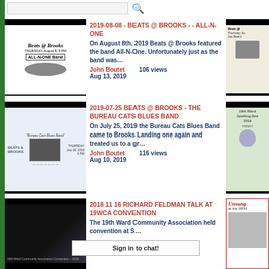[Figure (screenshot): Search bar with red search icon at top of page]
2019-08-08 - BEATS @ BROOKS - - ALL-N-ONE
On August 8th, 2019 Beats @ Brooks featured the band All-N-One. Unfortunately just as the band was…
John Boutet   106 views
Aug 13, 2019
2019-07-25 BEATS @ BROOKS - THE BUREAU CATS BLUES BAND
On July 25, 2019 the Bureau Cats Blues Band came to Brooks Landing one again and treated us to a gr…
John Boutet   116 views
Aug 10, 2019
2018 11 16 RICHARD FELDMAN TALK AT 19WCA CONVENTION
The 19th Ward Community Association held convention at S…
Sign in to chat!